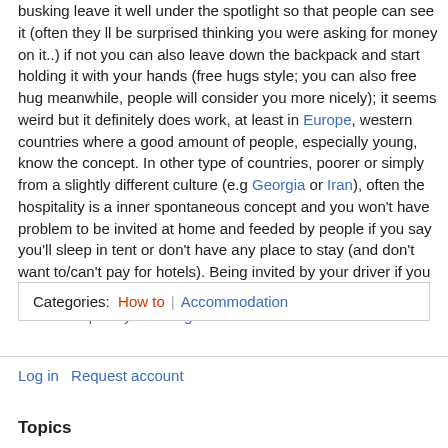busking leave it well under the spotlight so that people can see it (often they ll be surprised thinking you were asking for money on it..) if not you can also leave down the backpack and start holding it with your hands (free hugs style; you can also free hug meanwhile, people will consider you more nicely); it seems weird but it definitely does work, at least in Europe, western countries where a good amount of people, especially young, know the concept. In other type of countries, poorer or simply from a slightly different culture (e.g Georgia or Iran), often the hospitality is a inner spontaneous concept and you won't have problem to be invited at home and feeded by people if you say you'll sleep in tent or don't have any place to stay (and don't want to/can't pay for hotels). Being invited by your driver if you hitchhike is also a good option. couch:Hospitality exchange
| Categories: | How to | | | Accommodation |
| --- | --- | --- | --- |
Log in  Request account
Topics